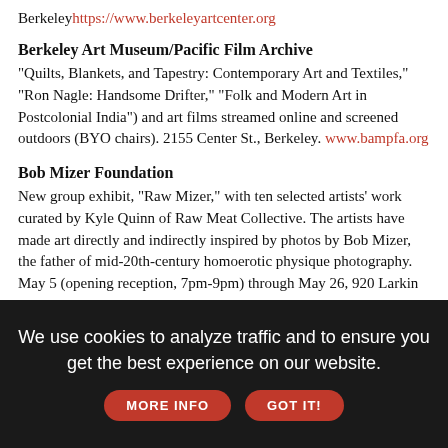Berkeleyhttps://www.berkeleyartcenter.org
Berkeley Art Museum/Pacific Film Archive
"Quilts, Blankets, and Tapestry: Contemporary Art and Textiles," "Ron Nagle: Handsome Drifter," "Folk and Modern Art in Postcolonial India") and art films streamed online and screened outdoors (BYO chairs). 2155 Center St., Berkeley. www.bampfa.org
Bob Mizer Foundation
New group exhibit, "Raw Mizer," with ten selected artists' work curated by Kyle Quinn of Raw Meat Collective. The artists have made art directly and indirectly inspired by photos by Bob Mizer, the father of mid-20th-century homoerotic physique photography. May 5 (opening reception, 7pm-9pm) through May 26, 920 Larkin St. www.bobmizer.org
California Academy of Sciences
The fascinating science museum includes live creatures (aquarium,
We use cookies to analyze traffic and to ensure you get the best experience on our website.
MORE INFO   GOT IT!